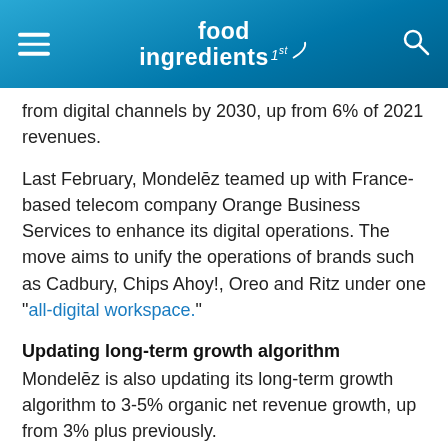food ingredients 1st
from digital channels by 2030, up from 6% of 2021 revenues.
Last February, Mondelēz teamed up with France-based telecom company Orange Business Services to enhance its digital operations. The move aims to unify the operations of brands such as Cadbury, Chips Ahoy!, Oreo and Ritz under one “all-digital workspace.”
Updating long-term growth algorithm
Mondelēz is also updating its long-term growth algorithm to 3-5% organic net revenue growth, up from 3% plus previously.
The company continues to expect adjusted earnings per share growth on a constant currency basis in the “high single digits” and gradually increasing free cash flow of more than US$3 billion over the long term.
“Consistent delivery against our financial commitments, investment in the long-term health of our brands and the